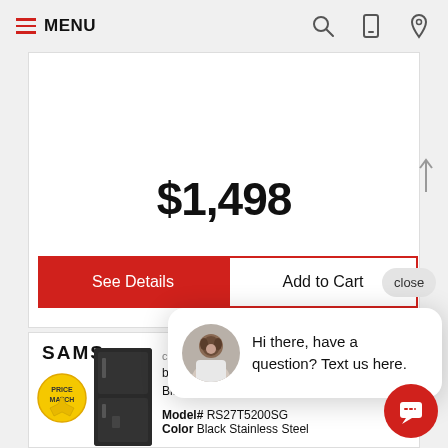MENU
$1,498
See Details
Add to Cart
close
Hi there, have a question? Text us here.
SAMS
cu. ft. Large Capacity Side-by-Side Refrigerator in Black Stainless Steel
Model# RS27T5200SG
Color Black Stainless Steel